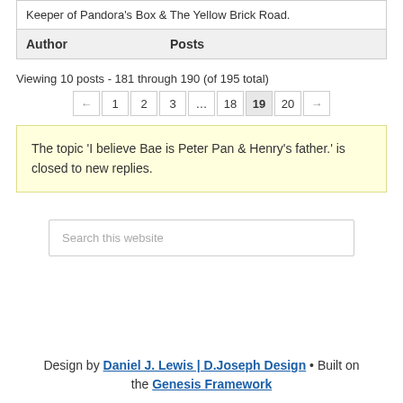| Author | Posts |
| --- | --- |
| Keeper of Pandora’s Box & The Yellow Brick Road. |  |
Viewing 10 posts - 181 through 190 (of 195 total)
← 1 2 3 … 18 19 20 →
The topic ‘I believe Bae is Peter Pan & Henry’s father.’ is closed to new replies.
Search this website
Design by Daniel J. Lewis | D.Joseph Design • Built on the Genesis Framework